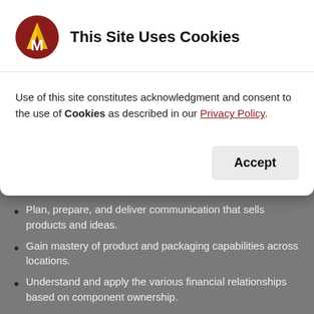[Figure (logo): Circular logo with M letter in white/gold on dark red background]
This Site Uses Cookies
Use of this site constitutes acknowledgment and consent to the use of Cookies as described in our Privacy Policy.
Plan, prepare, and deliver communication that sells products and ideas.
Gain mastery of product and packaging capabilities across locations.
Understand and apply the various financial relationships based on component ownership.
Efficiently execute customer product sample requests.
Initiate thorough and accurate finished goods quote requests. Maintain accuracy in cost assumptions through launch.